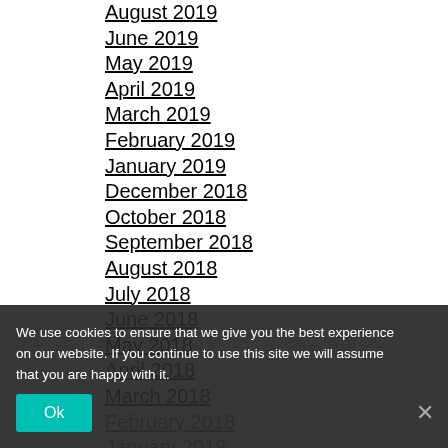August 2019
June 2019
May 2019
April 2019
March 2019
February 2019
January 2019
December 2018
October 2018
September 2018
August 2018
July 2018
June 2018
May 2018
April 2018
March 2018
February 2018
January 2018
December 2017
November 2017
October 2017
September 2017
We use cookies to ensure that we give you the best experience on our website. If you continue to use this site we will assume that you are happy with it.